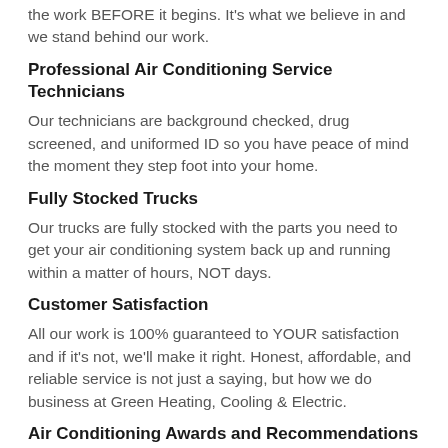the work BEFORE it begins. It's what we believe in and we stand behind our work.
Professional Air Conditioning Service Technicians
Our technicians are background checked, drug screened, and uniformed ID so you have peace of mind the moment they step foot into your home.
Fully Stocked Trucks
Our trucks are fully stocked with the parts you need to get your air conditioning system back up and running within a matter of hours, NOT days.
Customer Satisfaction
All our work is 100% guaranteed to YOUR satisfaction and if it's not, we'll make it right. Honest, affordable, and reliable service is not just a saying, but how we do business at Green Heating, Cooling & Electric.
Air Conditioning Awards and Recommendations